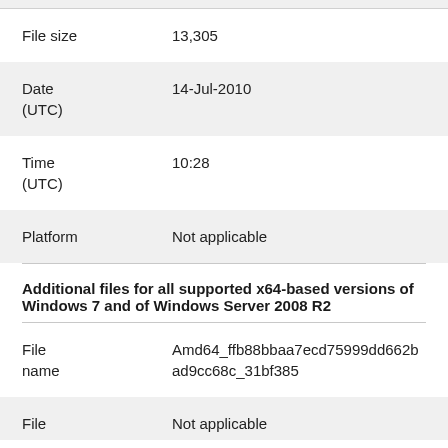| Property | Value |
| --- | --- |
| File size | 13,305 |
| Date (UTC) | 14-Jul-2010 |
| Time (UTC) | 10:28 |
| Platform | Not applicable |
Additional files for all supported x64-based versions of Windows 7 and of Windows Server 2008 R2
| Property | Value |
| --- | --- |
| File name | Amd64_ffb88bbaa7ecd75999dd662bad9cc68c_31bf385... |
| File | Not applicable |